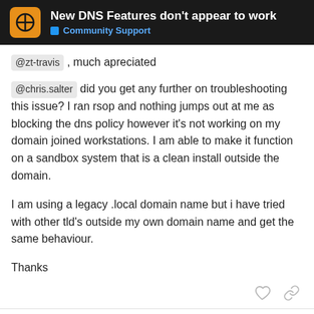New DNS Features don't appear to work — Community Support
@zt-travis , much apreciated
@chris.salter did you get any further on troubleshooting this issue? I ran rsop and nothing jumps out at me as blocking the dns policy however it's not working on my domain joined workstations. I am able to make it function on a sandbox system that is a clean install outside the domain.
I am using a legacy .local domain name but i have tried with other tld's outside my own domain name and get the same behaviour.
Thanks
chris.salter — Jan '21
18 / 32